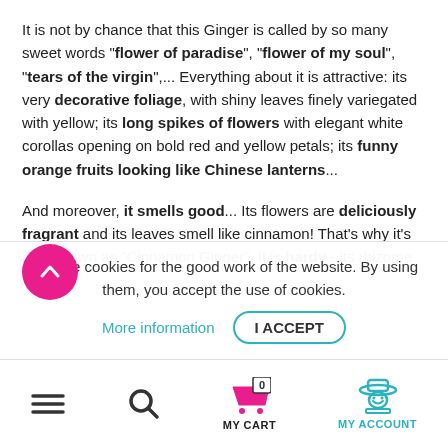It is not by chance that this Ginger is called by so many sweet words "flower of paradise", "flower of my soul", "tears of the virgin",... Everything about it is attractive: its very decorative foliage, with shiny leaves finely variegated with yellow; its long spikes of flowers with elegant white corollas opening on bold red and yellow petals; its funny orange fruits looking like Chinese lanterns...
And moreover, it smells good... Its flowers are deliciously fragrant and its leaves smell like cinnamon! That's why it's also known as "Cinnamon Ginger". It is hardy - its rhizome c... ful blo...
We use cookies for the good work of the website. By using them, you accept the use of cookies.
More information
I ACCEPT
[Figure (infographic): Pink circular scroll-to-top button with upward arrow icon]
[Figure (infographic): Bottom navigation bar with hamburger menu, search icon, shopping cart with badge showing 0 and MY CART label, and account icon with MY ACCOUNT label in teal]